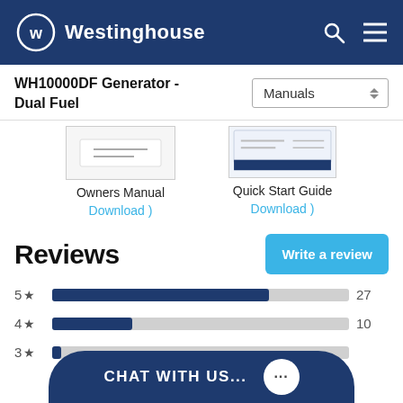Westinghouse
WH10000DF Generator - Dual Fuel
[Figure (screenshot): Owners Manual thumbnail image]
Owners Manual
Download )
[Figure (screenshot): Quick Start Guide thumbnail image]
Quick Start Guide
Download )
Reviews
[Figure (bar-chart): Star Ratings]
CHAT WITH US...